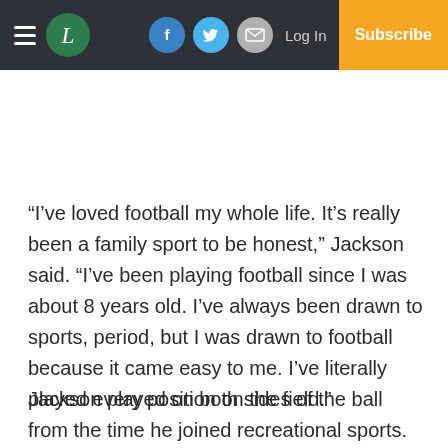Navigation bar with hamburger menu, L logo, Facebook, Twitter, Email icons, Log In, Subscribe
“I’ve loved football my whole life. It’s really been a family sport to be honest,” Jackson said. “I’ve been playing football since I was about 8 years old. I’ve always been drawn to sports, period, but I was drawn to football because it came easy to me. I’ve literally played every position on the field.”
Jackson played on both sides of the ball from the time he joined recreational sports. Defensive line